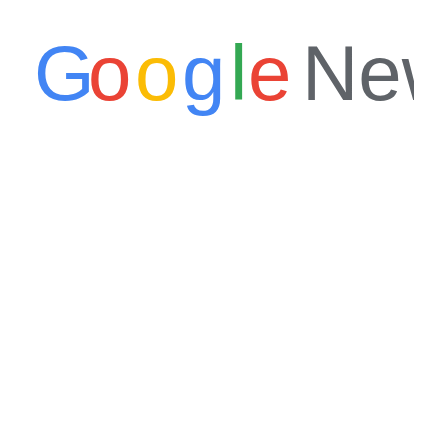[Figure (logo): Google News logo: the word 'Google' in the Google multicolor style (blue G, red o, yellow o, blue g, green l, red e) followed by 'News' in dark gray, rendered in a sans-serif font.]